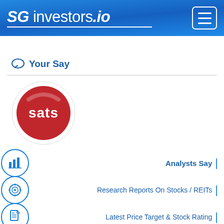SG investors.io
Your Say
[Figure (logo): SATS company logo — circular red badge with white text 'sats' on a white circular background]
Analysts Say |
Research Reports On Stocks / REITs |
Latest Price Target & Stock Rating |
Price Target with Substantial Upside/Downside Potential |